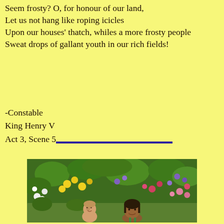Seem frosty? O, for honour of our land,
Let us not hang like roping icicles
Upon our houses' thatch, whiles a more frosty people
Sweat drops of gallant youth in our rich fields!
-Constable
King Henry V
Act 3, Scene 5
[Figure (photo): A woman and a baby/toddler sitting in front of a colorful flower garden with yellow, white, purple, pink, and red flowers.]